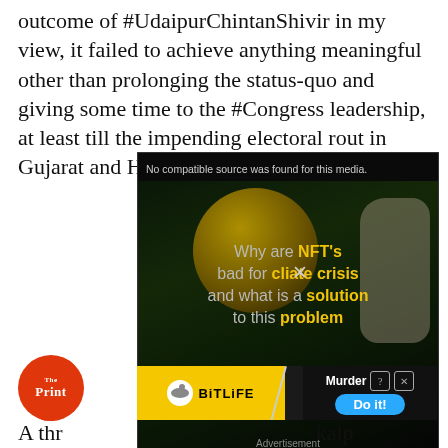outcome of #UdaipurChintanShivir in my view, it failed to achieve anything meaningful other than prolonging the status-quo and giving some time to the #Congress leadership, at least till the impending electoral rout in Gujarat and HP!"
[Figure (screenshot): Video player showing dark background with coin graphic and elephant silhouette, text overlay: 'Why are NFT's bad for climate crisis and what is a solution to this problem'. Error message: 'No compatible source was found for this media.' Label at bottom: 'Advertisement']
[Figure (screenshot): BitLife advertisement banner with yellow left section showing BitLife logo and white right section showing 'Murder' with 'Do it!' blue button and question/close icons]
A thr... kalp